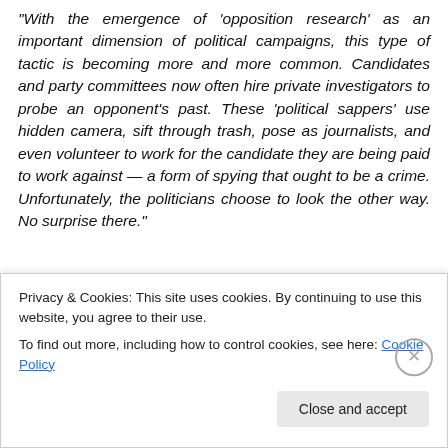“With the emergence of ‘opposition research’ as an important dimension of political campaigns, this type of tactic is becoming more and more common. Candidates and party committees now often hire private investigators to probe an opponent’s past. These ‘political sappers’ use hidden camera, sift through trash, pose as journalists, and even volunteer to work for the candidate they are being paid to work against — a form of spying that ought to be a crime. Unfortunately, the politicians choose to look the other way. No surprise there.”
[Figure (screenshot): Cookie consent banner with text: 'Privacy & Cookies: This site uses cookies. By continuing to use this website, you agree to their use. To find out more, including how to control cookies, see here: Cookie Policy' with a 'Close and accept' button and a circular X close button.]